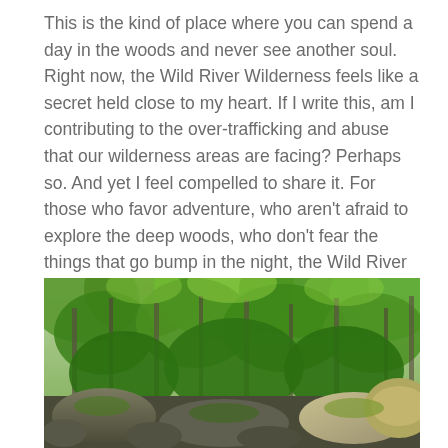This is the kind of place where you can spend a day in the woods and never see another soul. Right now, the Wild River Wilderness feels like a secret held close to my heart. If I write this, am I contributing to the over-trafficking and abuse that our wilderness areas are facing? Perhaps so. And yet I feel compelled to share it. For those who favor adventure, who aren't afraid to explore the deep woods, who don't fear the things that go bump in the night, the Wild River Wilderness presents a chance for adventure still within a days drive of Boston.
[Figure (photo): A lush green forest scene with tall trees, dense foliage, and large moss-covered rocks in the foreground, depicting the Wild River Wilderness area.]